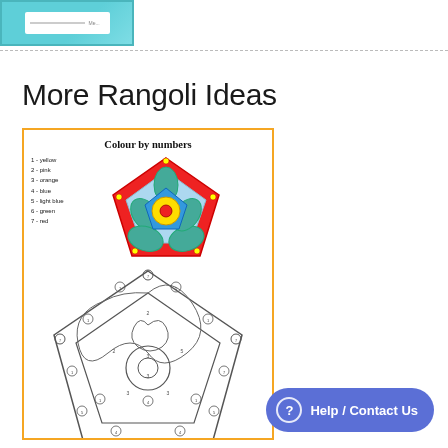[Figure (screenshot): Thumbnail of a worksheet with teal/cyan header, partially visible]
More Rangoli Ideas
[Figure (illustration): A colour-by-numbers Rangoli worksheet with orange border. Shows a completed coloured star-shaped Rangoli with key (1-yellow, 2-pink, 3-orange, 4-blue, 5-light blue, 6-green, 7-red) and below it an outline version of the same Rangoli pattern for colouring in, with numbers in circles throughout the design.]
Help / Contact Us